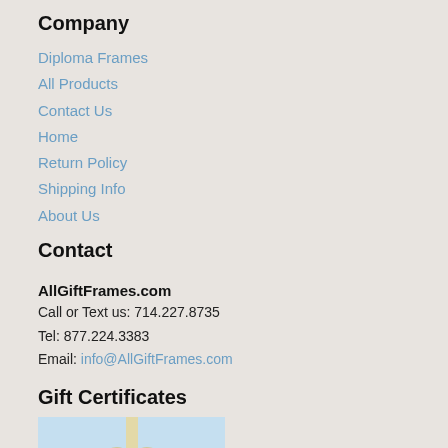Company
Diploma Frames
All Products
Contact Us
Home
Return Policy
Shipping Info
About Us
Contact
AllGiftFrames.com
Call or Text us: 714.227.8735
Tel: 877.224.3383
Email: info@AllGiftFrames.com
Gift Certificates
[Figure (photo): Gift certificate promotional image with a bow and ribbon decoration on a light blue background with text reading 'Gift Certificates' in cursive script]